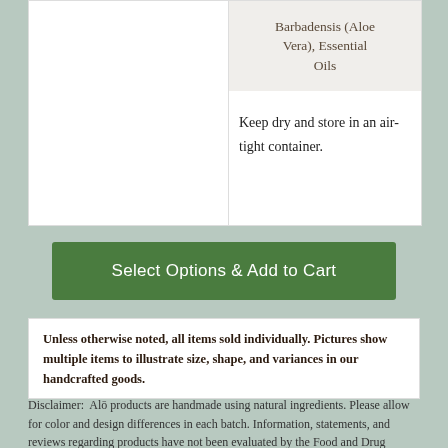Barbadensis (Aloe Vera), Essential Oils
Keep dry and store in an air-tight container.
Select Options & Add to Cart
Unless otherwise noted, all items sold individually. Pictures show multiple items to illustrate size, shape, and variances in our handcrafted goods.
Disclaimer: Alō products are handmade using natural ingredients. Please allow for color and design differences in each batch. Information, statements, and reviews regarding products have not been evaluated by the Food and Drug Administration. There is no